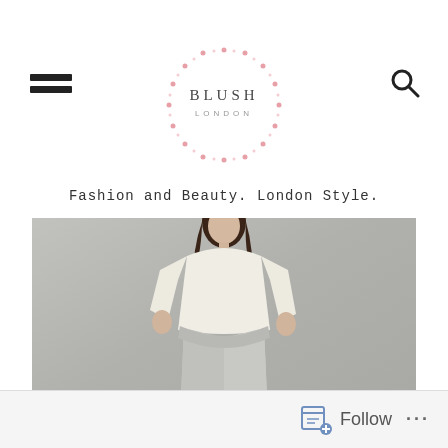[Figure (logo): Blush London blog logo — circular dotted border in pink/blush color with text BLUSH in serif font and LONDON in small caps beneath, centered at top of page]
Fashion and Beauty. London Style.
[Figure (photo): Fashion photograph of a female model with long dark hair, wearing a cream/ivory oversized sweatshirt and light grey loose trousers, standing against a plain grey background]
Follow ...